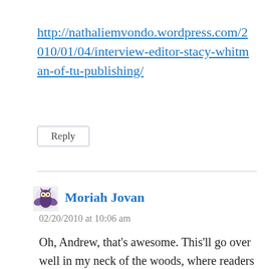http://nathaliemvondo.wordpress.com/2010/01/04/interview-editor-stacy-whitman-of-tu-publishing/
Reply
Moriah Jovan
02/20/2010 at 10:06 am
Oh, Andrew, that’s awesome. This’ll go over well in my neck of the woods, where readers are clamoring for stories with people of color. Bookmarking and tweeting.